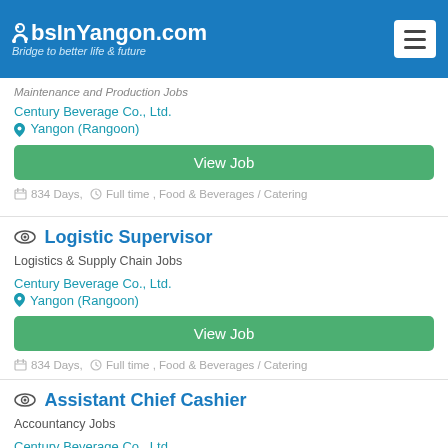JobsInYangon.com — Bridge to better life & future
Maintenance and Production Jobs
Century Beverage Co., Ltd.
Yangon (Rangoon)
View Job
834 Days, Full time , Food & Beverages / Catering
Logistic Supervisor
Logistics & Supply Chain Jobs
Century Beverage Co., Ltd.
Yangon (Rangoon)
View Job
834 Days, Full time , Food & Beverages / Catering
Assistant Chief Cashier
Accountancy Jobs
Century Beverage Co., Ltd.
Yangon (Rangoon)
View Job